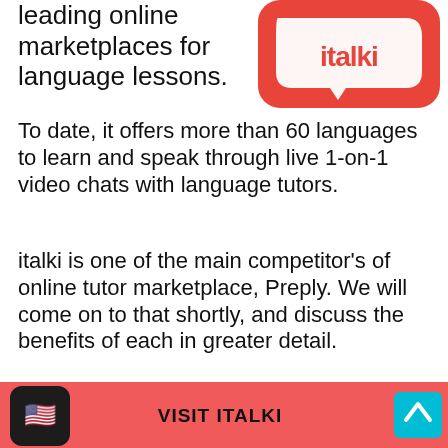leading online marketplaces for language lessons.
[Figure (logo): italki logo — red rounded square with white speech bubble and 'italki' text in red]
To date, it offers more than 60 languages to learn and speak through live 1-on-1 video chats with language tutors.
italki is one of the main competitor's of online tutor marketplace, Preply. We will come on to that shortly, and discuss the benefits of each in greater detail.
If you're looking for online Vietnamese classes, then italki is a great place to start.
[Figure (infographic): Coral/red bottom banner with US flag app icon on left, bold text 'VISIT ITALKI' in center, cyan up-arrow button on right]